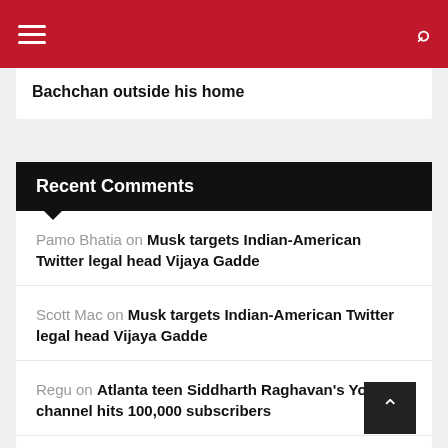Navigation bar with hamburger menu and search icon
Bachchan outside his home
Recent Comments
Pamo Bhatia on Musk targets Indian-American Twitter legal head Vijaya Gadde
Scott Mac on Musk targets Indian-American Twitter legal head Vijaya Gadde
Regu on Atlanta teen Siddharth Raghavan's YouTube channel hits 100,000 subscribers
Pamo on New book claims 'widening rift' between Biden and Harris